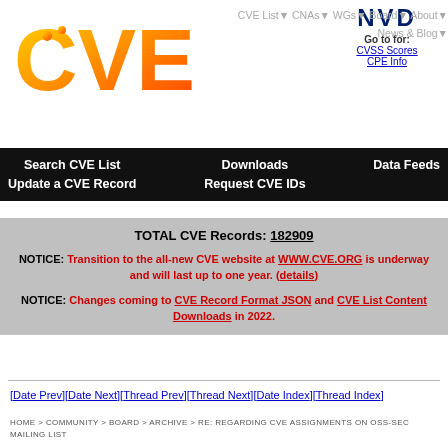[Figure (logo): CVE logo with orange gradient letters]
[Figure (logo): NVD logo with Go to for: CVSS Scores, CPE Info links]
CVE List▼ CNAs▼ WGs▼ Board▼ About▼ News & Blog▼
Search CVE List   Downloads   Data Feeds   Update a CVE Record   Request CVE IDs
TOTAL CVE Records: 182909
NOTICE: Transition to the all-new CVE website at WWW.CVE.ORG is underway and will last up to one year. (details)
NOTICE: Changes coming to CVE Record Format JSON and CVE List Content Downloads in 2022.
HOME > COMMUNITY > BOARD > ARCHIVE > RE: REGARDING CVE ASSIGNMENTS ON OSS-SEC MAILING LIST
[Date Prev][Date Next][Thread Prev][Thread Next][Date Index][Thread Index]